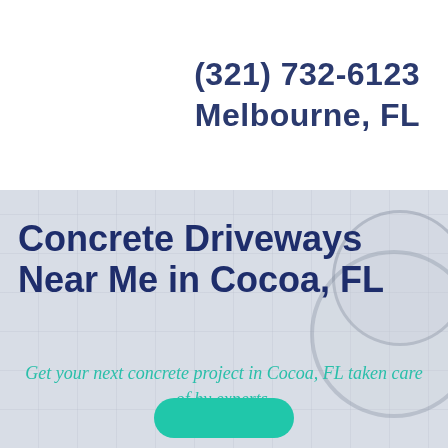(321) 732-6123
Melbourne, FL
Concrete Driveways Near Me in Cocoa, FL
Get your next concrete project in Cocoa, FL taken care of by experts.